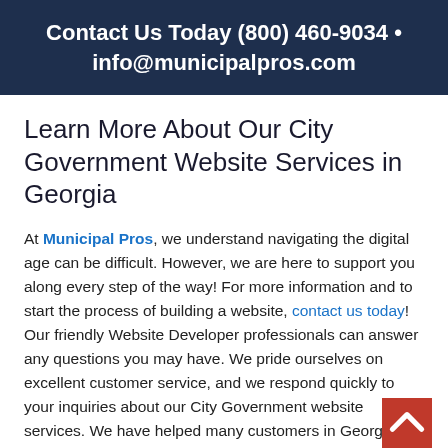Contact Us Today (800) 460-9034 • info@municipalpros.com
Learn More About Our City Government Website Services in Georgia
At Municipal Pros, we understand navigating the digital age can be difficult. However, we are here to support you along every step of the way! For more information and to start the process of building a website, contact us today! Our friendly Website Developer professionals can answer any questions you may have. We pride ourselves on excellent customer service, and we respond quickly to your inquiries about our City Government website services. We have helped many customers in Georgia cities and we have the Website Developer expertise to help! Whether you have an established website or you are starting from scratch, our